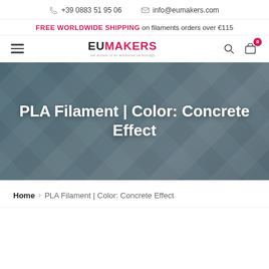+39 0883 51 95 06  info@eumakers.com
FREE WORLDWIDE SHIPPING on filaments orders over €115
[Figure (logo): EUMAKERS logo with EU in dark and MAKERS in pink/red, with tagline below]
PLA Filament | Color: Concrete Effect
Home > PLA Filament | Color: Concrete Effect